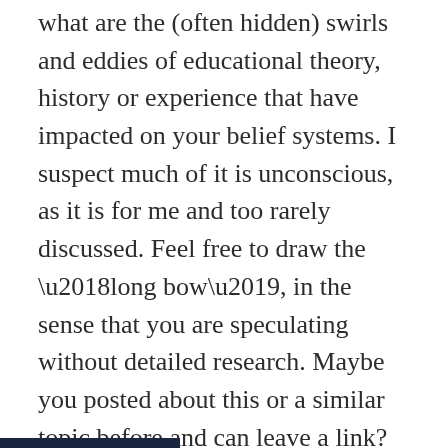what are the (often hidden) swirls and eddies of educational theory, history or experience that have impacted on your belief systems. I suspect much of it is unconscious, as it is for me and too rarely discussed. Feel free to draw the ‘long bow’, in the sense that you are speculating without detailed research. Maybe you posted about this or a similar topic before and can leave a link?
I’ll start.
There was virtually no time at university, at least in the formal